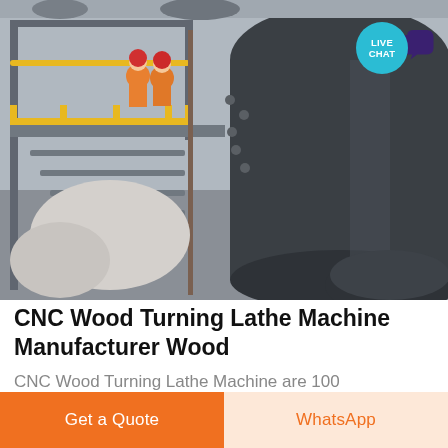[Figure (photo): Industrial machinery interior: large dark cylindrical ball mill or grinding drum with bolted flanges, steel staircase with yellow railing, two workers wearing orange vests and red hard hats standing on a platform, industrial building interior with grey walls and large mechanical equipment.]
CNC Wood Turning Lathe Machine Manufacturer Wood
CNC Wood Turning Lathe Machine are 100
Get a Quote
WhatsApp